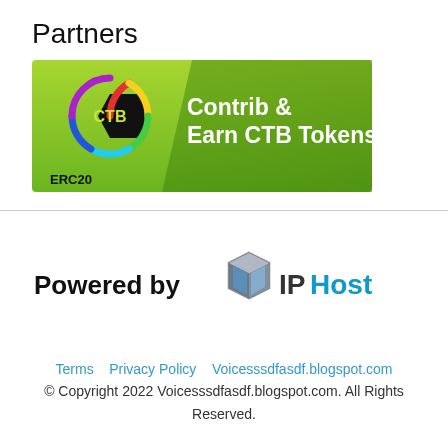Partners
[Figure (logo): CTB token banner: green gradient background with black CTB hexagon logo on left, colorful ring around it, text 'Contrib & Earn CTB Tokens' in white, 'ERC20' label at bottom left]
[Figure (logo): IPHost logo: 3D cube icon in grey/blue, followed by 'IP' in dark grey bold and 'Host' in cyan/blue. Preceded by 'Powered by' text.]
Terms  Privacy Policy  Voicesssdfasdf.blogspot.com
© Copyright 2022 Voicesssdfasdf.blogspot.com. All Rights Reserved.